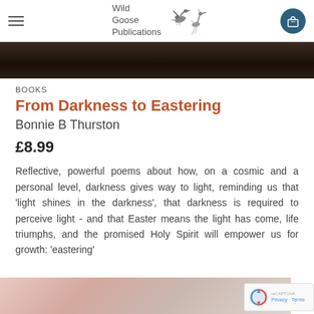Wild Goose Publications
[Figure (photo): Dark background hero image strip at the top of the page]
BOOKS
From Darkness to Eastering
Bonnie B Thurston
£8.99
Reflective, powerful poems about how, on a cosmic and a personal level, darkness gives way to light, reminding us that 'light shines in the darkness', that darkness is required to perceive light - and that Easter means the light has come, life triumphs, and the promised Holy Spirit will empower us for growth: 'eastering'
[Figure (photo): Bottom image showing soft pink/rose colored folds, possibly flower petals or fabric]